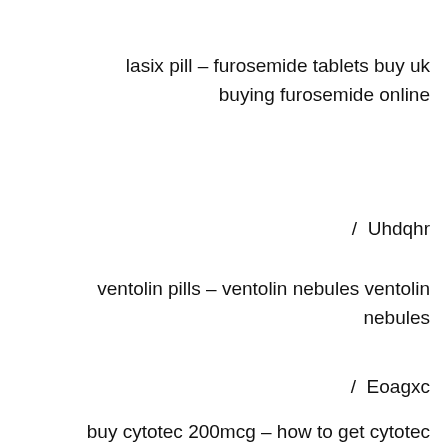lasix pill – furosemide tablets buy uk buying furosemide online
/ Uhdqhr
ventolin pills – ventolin nebules ventolin nebules
/ Eoagxc
buy cytotec 200mcg – how to get cytotec over the counter how to order cytotec online